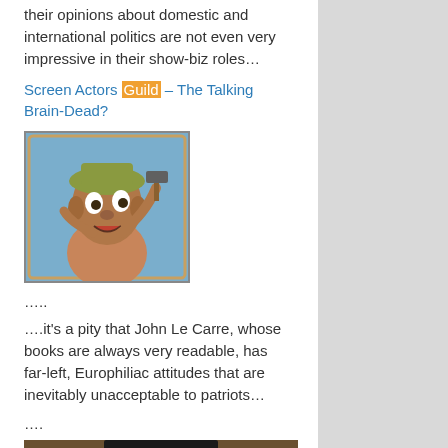their opinions about domestic and international politics are not even very impressive in their show-biz roles…
Screen Actors Guild – The Talking Brain-Dead?
[Figure (illustration): Cartoon illustration of an odd-looking goblin/troll character with large ears, bug eyes, and a hammer raised above its head, set against a blue sky background with a decorative border.]
…..
….it's a pity that John Le Carre, whose books are always very readable, has far-left, Europhiliac attitudes that are inevitably unacceptable to patriots…
….
[Figure (photo): Partial photo visible at bottom of page, appears to show a person in a dark graduation cap or hat.]